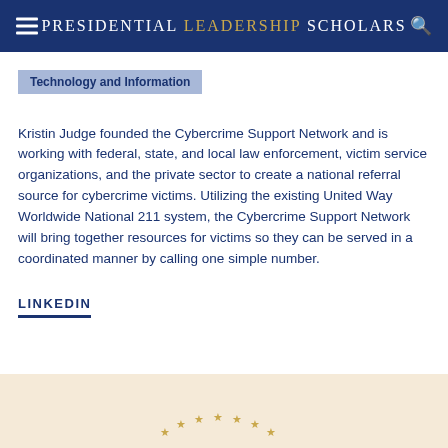PRESIDENTIAL LEADERSHIP SCHOLARS
Technology and Information
Kristin Judge founded the Cybercrime Support Network and is working with federal, state, and local law enforcement, victim service organizations, and the private sector to create a national referral source for cybercrime victims. Utilizing the existing United Way Worldwide National 211 system, the Cybercrime Support Network will bring together resources for victims so they can be served in a coordinated manner by calling one simple number.
LINKEDIN